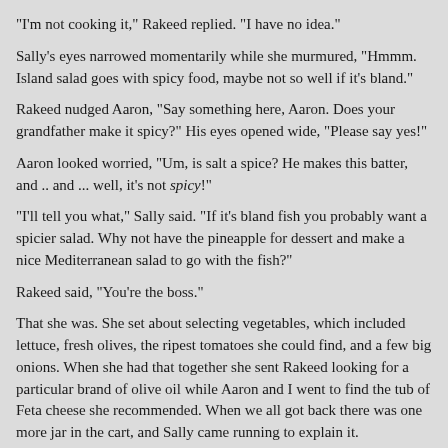"I'm not cooking it," Rakeed replied. "I have no idea."
Sally's eyes narrowed momentarily while she murmured, "Hmmm. Island salad goes with spicy food, maybe not so well if it's bland."
Rakeed nudged Aaron, "Say something here, Aaron. Does your grandfather make it spicy?" His eyes opened wide, "Please say yes!"
Aaron looked worried, "Um, is salt a spice? He makes this batter, and .. and ... well, it's not spicy!"
"I'll tell you what," Sally said. "If it's bland fish you probably want a spicier salad. Why not have the pineapple for dessert and make a nice Mediterranean salad to go with the fish?"
Rakeed said, "You're the boss."
That she was. She set about selecting vegetables, which included lettuce, fresh olives, the ripest tomatoes she could find, and a few big onions. When she had that together she sent Rakeed looking for a particular brand of olive oil while Aaron and I went to find the tub of Feta cheese she recommended. When we all got back there was one more jar in the cart, and Sally came running to explain it.